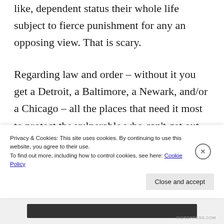like, dependent status their whole life subject to fierce punishment for any an opposing view. That is scary.
Regarding law and order – without it you get a Detroit, a Baltimore, a Newark, and/or a Chicago – all the places that need it most to protect the vulnerable who can't get out of bad neighborhoods. New York City was revived through the firm and
Privacy & Cookies: This site uses cookies. By continuing to use this website, you agree to their use.
To find out more, including how to control cookies, see here: Cookie Policy
Close and accept